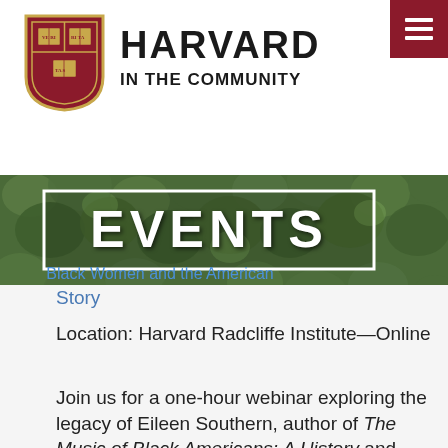[Figure (logo): Harvard shield/crest logo with VERITAS banner in crimson and gold]
HARVARD IN THE COMMUNITY
[Figure (photo): Ivy leaves background photo with 'EVENTS' text overlay in white inside a white border rectangle]
Black Women and the American University: Eileen Southern's Story
Location: Harvard Radcliffe Institute—Online
Join us for a one-hour webinar exploring the legacy of Eileen Southern, author of The Music of Black Americans: A History and